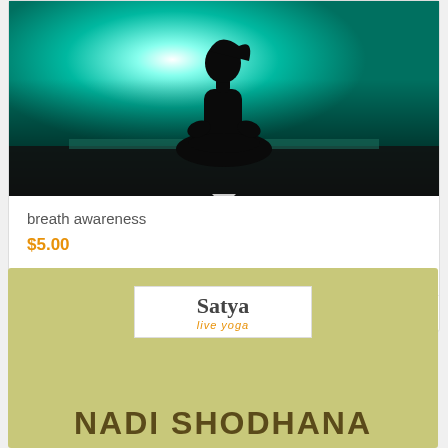[Figure (photo): Silhouette of a person in meditation lotus pose against a teal/green glowing background with a bright circular light behind them, suggesting sunrise or moonlight over water.]
breath awareness
$5.00
Add to cart
Show Details
[Figure (logo): Satya Live Yoga logo in a white box on an olive/yellow-green background, with 'NADI SHODHANA' text below in dark olive bold letters.]